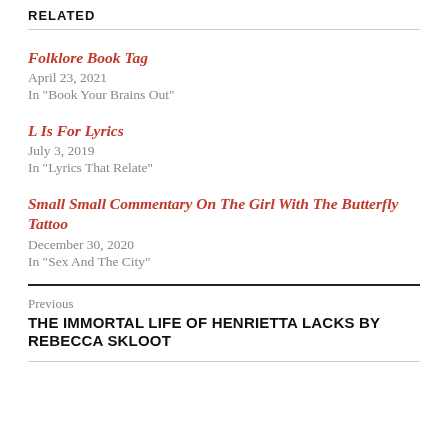RELATED
Folklore Book Tag
April 23, 2021
In "Book Your Brains Out"
L Is For Lyrics
July 3, 2019
In "Lyrics That Relate"
Small Small Commentary On The Girl With The Butterfly Tattoo
December 30, 2020
In "Sex And The City"
Previous
THE IMMORTAL LIFE OF HENRIETTA LACKS BY REBECCA SKLOOT